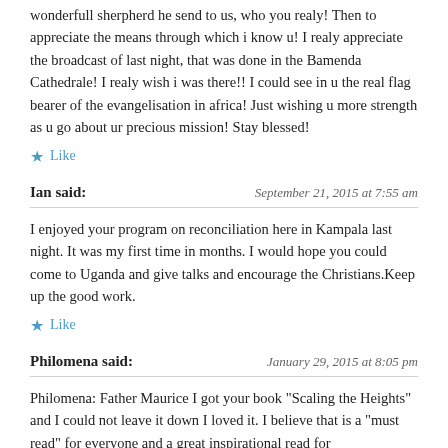wonderfull sherpherd he send to us, who you realy! Then to appreciate the means through which i know u! I realy appreciate the broadcast of last night, that was done in the Bamenda Cathedrale! I realy wish i was there!! I could see in u the real flag bearer of the evangelisation in africa! Just wishing u more strength as u go about ur precious mission! Stay blessed!
★ Like
Ian said:
September 21, 2015 at 7:55 am
I enjoyed your program on reconciliation here in Kampala last night. It was my first time in months. I would hope you could come to Uganda and give talks and encourage the Christians.Keep up the good work.
★ Like
Philomena said:
January 29, 2015 at 8:05 pm
Philomena: Father Maurice I got your book "Scaling the Heights" and I could not leave it down I loved it. I believe that is a "must read" for everyone and a great inspirational read for